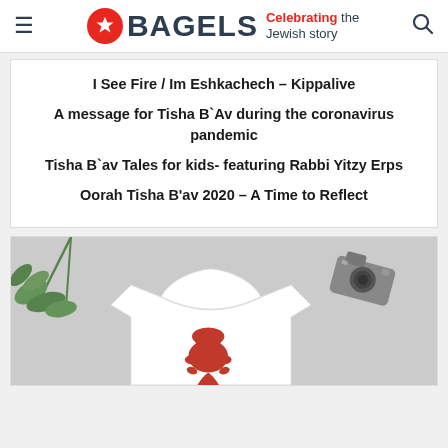BAGELS — Celebrating the Jewish story
I See Fire / Im Eshkachech – Kippalive
A message for Tisha B`Av during the coronavirus pandemic
Tisha B`av Tales for kids- featuring Rabbi Yitzy Erps
Oorah Tisha B'av 2020 – A Time to Reflect
[Figure (photo): A white t-shirt with a red lion graphic on it, photographed on a light grey background with a green leafy plant and a vintage camera in the corners.]